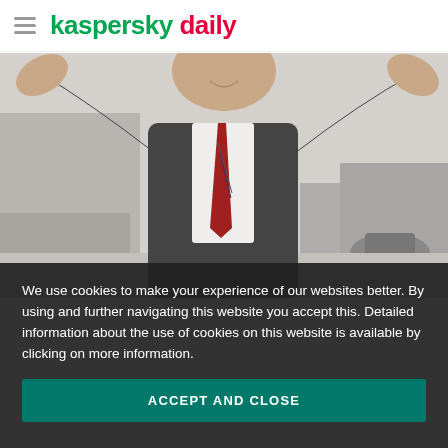kaspersky daily
[Figure (photo): A smiling businessman in a grey suit with a red and blue striped tie, arms raised and hands open in a shrugging gesture, standing in a blurred office environment.]
varying purposes, ransomware's is quite simple: Get Money. With a goal like that spurring on malicious developers, it's no wonder
We use cookies to make your experience of our websites better. By using and further navigating this website you accept this. Detailed information about the use of cookies on this website is available by clicking on more information.
ACCEPT AND CLOSE